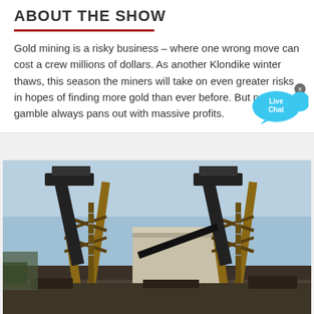ABOUT THE SHOW
Gold mining is a risky business – where one wrong move can cost a crew millions of dollars. As another Klondike winter thaws, this season the miners will take on even greater risks in hopes of finding more gold than ever before. But not every gamble always pans out with massive profits.
[Figure (photo): Industrial gold mining conveyor equipment - two tall orange metal conveyor tower structures with conveyor belts, photographed against a blue sky at a mining site]